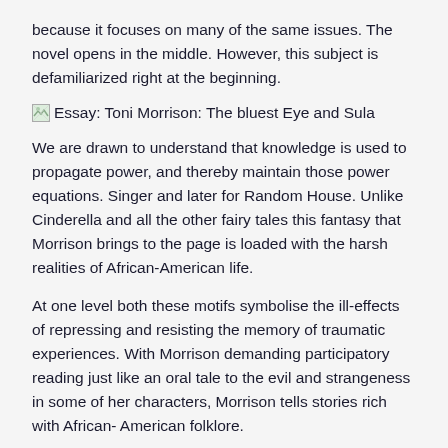because it focuses on many of the same issues. The novel opens in the middle. However, this subject is defamiliarized right at the beginning.
[Figure (illustration): Small broken image icon followed by essay title text: Essay: Toni Morrison: The bluest Eye and Sula]
We are drawn to understand that knowledge is used to propagate power, and thereby maintain those power equations. Singer and later for Random House. Unlike Cinderella and all the other fairy tales this fantasy that Morrison brings to the page is loaded with the harsh realities of African-American life.
At one level both these motifs symbolise the ill-effects of repressing and resisting the memory of traumatic experiences. With Morrison demanding participatory reading just like an oral tale to the evil and strangeness in some of her characters, Morrison tells stories rich with African- American folklore.